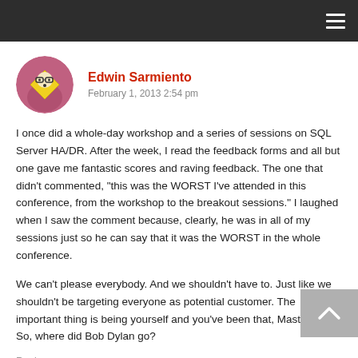[Figure (illustration): Circular avatar illustration of a cartoon character with glasses, yellow diamond shape body, on a pink/purple background]
Edwin Sarmiento
February 1, 2013 2:54 pm
I once did a whole-day workshop and a series of sessions on SQL Server HA/DR. After the week, I read the feedback forms and all but one gave me fantastic scores and raving feedback. The one that didn't commented, “this was the WORST I've attended in this conference, from the workshop to the breakout sessions.” I laughed when I saw the comment because, clearly, he was in all of my sessions just so he can say that it was the WORST in the whole conference.
We can’t please everybody. And we shouldn’t have to. Just like we shouldn’t be targeting everyone as potential customer. The important thing is being yourself and you’ve been that, Master Brent. So, where did Bob Dylan go?
Reply